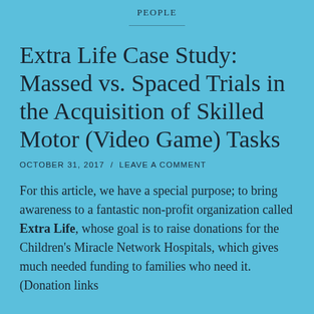PEOPLE
Extra Life Case Study: Massed vs. Spaced Trials in the Acquisition of Skilled Motor (Video Game) Tasks
OCTOBER 31, 2017 / LEAVE A COMMENT
For this article, we have a special purpose; to bring awareness to a fantastic non-profit organization called Extra Life, whose goal is to raise donations for the Children's Miracle Network Hospitals, which gives much needed funding to families who need it. (Donation links